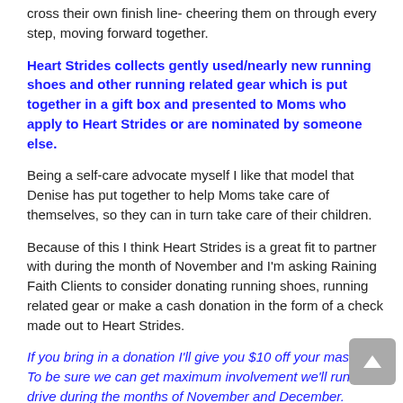cross their own finish line- cheering them on through every step, moving forward together.
Heart Strides collects gently used/nearly new running shoes and other running related gear which is put together in a gift box and presented to Moms who apply to Heart Strides or are nominated by someone else.
Being a self-care advocate myself I like that model that Denise has put together to help Moms take care of themselves, so they can in turn take care of their children.
Because of this I think Heart Strides is a great fit to partner with during the month of November and I'm asking Raining Faith Clients to consider donating running shoes, running related gear or make a cash donation in the form of a check made out to Heart Strides.
If you bring in a donation I'll give you $10 off your massage. To be sure we can get maximum involvement we'll run the drive during the months of November and December.